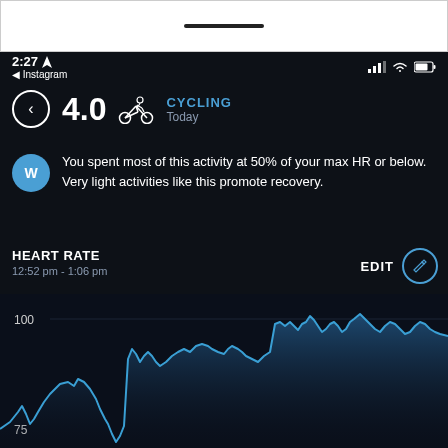[Figure (screenshot): Top white bar with home indicator line]
2:27 ◀ Instagram
4.0 CYCLING Today
You spent most of this activity at 50% of your max HR or below. Very light activities like this promote recovery.
HEART RATE
12:52 pm - 1:06 pm
EDIT
[Figure (continuous-plot): Heart rate line chart showing values around 75-110 bpm over time from 12:52pm to 1:06pm, with blue line and shaded area on dark background. Y-axis shows 100 and 75 markers.]